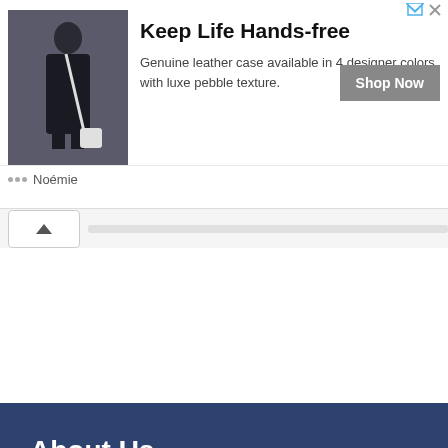[Figure (photo): Advertisement banner: woman in black dress with white crossbody bag. Text reads 'Keep Life Hands-free'. Genuine leather case available in 4 designer colors with luxe pebble texture. Shop Now button. Brand: Noémie.]
About Us
We blog about hot male celebrities from their washboard abs, boxers or briefs underwear preferences, sculpted muscles, movies and TV shows, and sometimes their shenanigans.